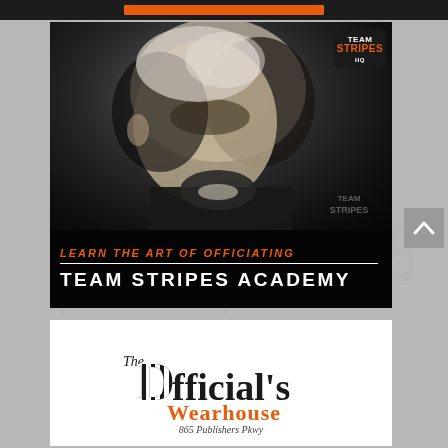[Figure (illustration): Orange bar/header strip at top of page]
[Figure (photo): Team Stripes Academy advertisement. Close-up dramatic portrait photo of a middle-aged white male referee/official with grey hair and stern expression, wearing a black jacket. Dark background. Team Stripes logo in top right corner. Bottom overlay text reads: 'LEARN THE ART OF OFFICIATING' in orange italic bold caps, followed by a white divider line, then 'TEAM STRIPES ACADEMY' in large white bold caps.]
[Figure (logo): The Official's Wearhouse logo advertisement. Decorative serif font showing 'The Official's Wearhouse' with the D in Officials styled as a large decorative character with black and white stripes. 'Wearhouse' is in orange. Below reads '865 Publishers Pkwy']